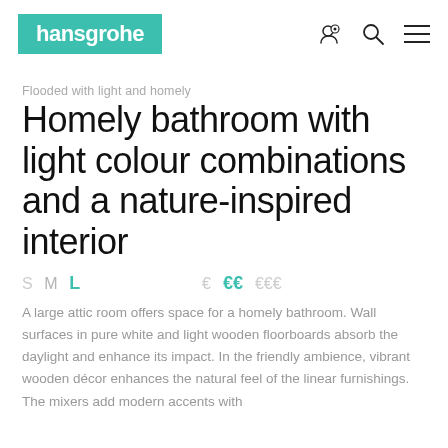hansgrohe
Flooded with light and homely
Homely bathroom with light colour combinations and a nature-inspired interior
S  M  L     €  €€  €€€
A large attic room offers space for a homely bathroom. Wall surfaces in pure white and light wooden floorboards absorb the daylight and enhance its impact. In the friendly ambience, vibrant wooden décor enhances the natural feel of the linear furnishings. The mixers add modern accents with